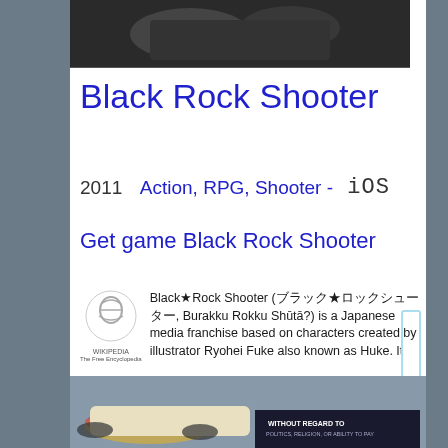[Figure (photo): Black and white photo of people at the top of the page]
Black Rock Shooter
2011  Action, RPG, Shooter - iOS
Get game Black Rock Shooter
Black★Rock Shooter (ブラック★ロックシューター, Burakku Rokku Shūtā?) is a Japanese media franchise based on characters created by illustrator Ryohei Fuke also known as Huke. It revolves ...  more on Wikipedia
[Figure (photo): Photo of airplane with colorful livery at the bottom with a dark banner reading WITHOUT REGARD TO POLITICS, RELIGION, OR ABILITY TO PAY]